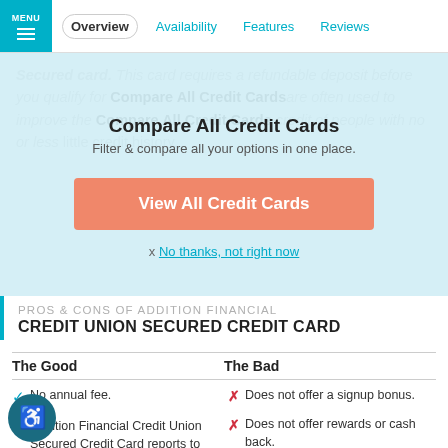MENU | Overview | Availability | Features | Reviews
Secured card. This card requires a refundable deposit before you qualify for Compare All Credit Cards are often used to improve the credit of people with no or less little credit history.
Compare All Credit Cards
Filter & compare all your options in one place.
View All Credit Cards
x No thanks, not right now
PROS & CONS OF ADDITION FINANCIAL CREDIT UNION SECURED CREDIT CARD
| The Good | The Bad |
| --- | --- |
| No annual fee. | Does not offer a signup bonus. |
| Addition Financial Credit Union Secured Credit Card reports to multiple credit bureaus. | Does not offer rewards or cash back. |
|  | You don't earn rewards on every purchase. |
|  | Charges a 3% foreign... |